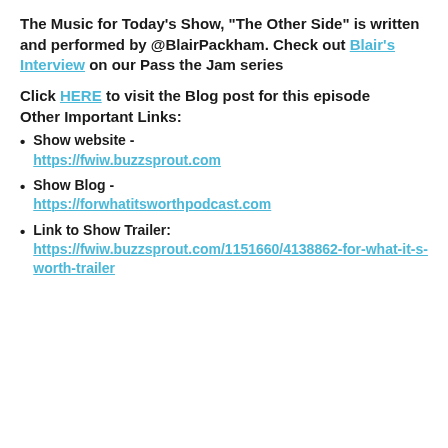The Music for Today's Show, "The Other Side" is written and performed by @BlairPackham. Check out Blair's Interview on our Pass the Jam series
Click HERE to visit the Blog post for this episode
Other Important Links:
Show website - https://fwiw.buzzsprout.com
Show Blog - https://forwhatitsworthpodcast.com
Link to Show Trailer: https://fwiw.buzzsprout.com/1151660/4138862-for-what-it-s-worth-trailer